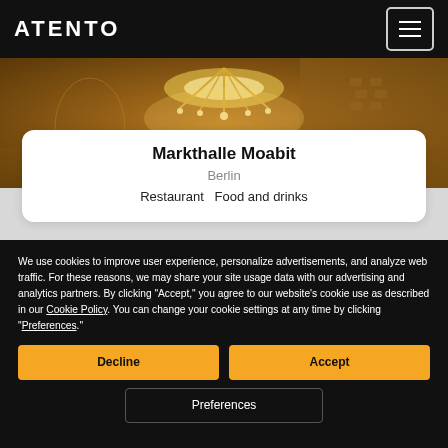ATENTO
[Figure (photo): Interior photo of Markthalle Moabit showing chandeliers and warm-lit market hall interior]
Markthalle Moabit
Berlin
Restaurant   Food and drinks
We use cookies to improve user experience, personalize advertisements, and analyze web traffic. For these reasons, we may share your site usage data with our advertising and analytics partners. By clicking "Accept," you agree to our website's cookie use as described in our Cookie Policy. You can change your cookie settings at any time by clicking "Preferences."
Decline
Accept
Preferences